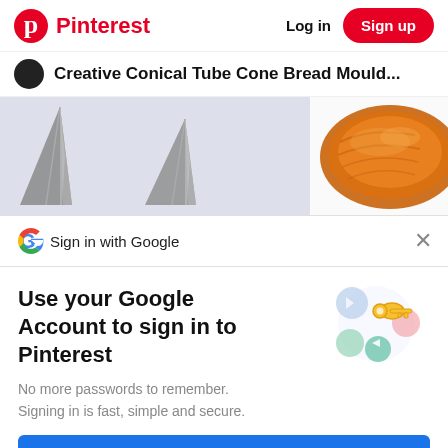Pinterest — Log in | Sign up
Creative Conical Tube Cone Bread Mould...
[Figure (photo): Two metallic conical tube cone bread moulds on a light background, alongside a croissant on the right side]
Sign in with Google
Use your Google Account to sign in to Pinterest
No more passwords to remember.
Signing in is fast, simple and secure.
[Figure (illustration): Google sign-in illustration with a golden key and colorful circles]
Continue